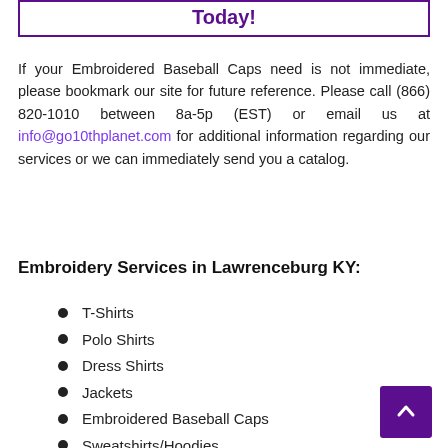Today!
If your Embroidered Baseball Caps need is not immediate, please bookmark our site for future reference. Please call (866) 820-1010 between 8a-5p (EST) or email us at info@go10thplanet.com for additional information regarding our services or we can immediately send you a catalog.
Embroidery Services in Lawrenceburg KY:
T-Shirts
Polo Shirts
Dress Shirts
Jackets
Embroidered Baseball Caps
Sweatshirts/Hoodies
Youth Apparel